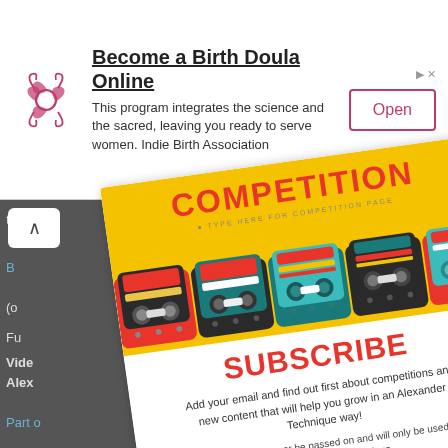[Figure (screenshot): Advertisement banner for 'Become a Birth Doula Online' with a decorative floral logo, descriptive text about integrating science and sacred, and an 'Open' button]
[Figure (screenshot): Screenshot of a competition/subscribe popup overlay on a website. The popup shows 'COMPETITION' title on yellow background with colorful cassette tape graphics, and a 'SUBSCRIBE' section below asking visitors to add email to find out about competitions and new Alexander Technique content. Partially visible website text in the background mentions Video, Alexander Technique, Part of.]